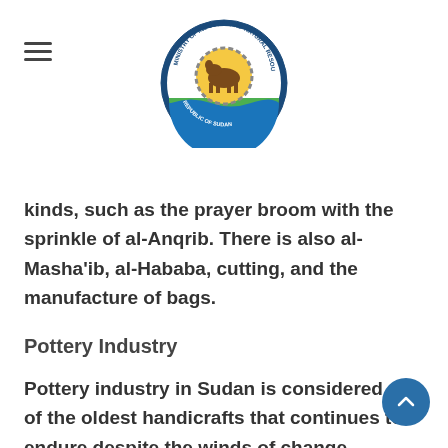[Ministry logo / seal]
kinds, such as the prayer broom with the sprinkle of al-Anqrib. There is also al-Masha'ib, al-Hababa, cutting, and the manufacture of bags.
Pottery Industry
Pottery industry in Sudan is considered one of the oldest handicrafts that continues to endure despite the winds of change, preserving its pioneers and users. The "Al-Qumayr" area in Omdurman, in the Sudanese capital, Khartoum, is famous for